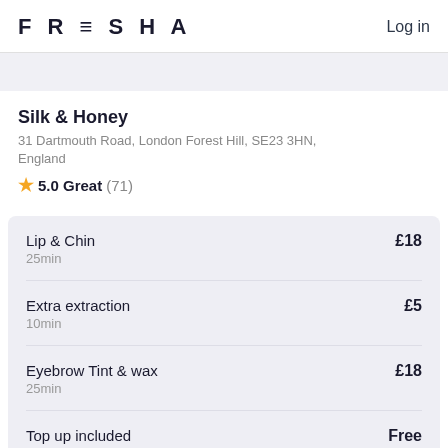FRESHA  Log in
Silk & Honey
31 Dartmouth Road, London Forest Hill, SE23 3HN, England
★ 5.0 Great (71)
| Service | Duration | Price |
| --- | --- | --- |
| Lip & Chin | 25min | £18 |
| Extra extraction | 10min | £5 |
| Eyebrow Tint & wax | 25min | £18 |
| Top up included |  | Free |